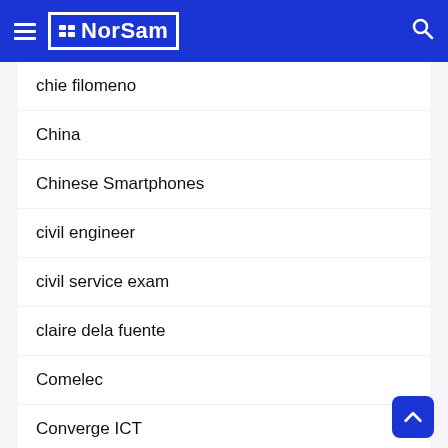NorSam
chie filomeno
China
Chinese Smartphones
civil engineer
civil service exam
claire dela fuente
Comelec
Converge ICT
corona virus
Coronavirus
Cosplay